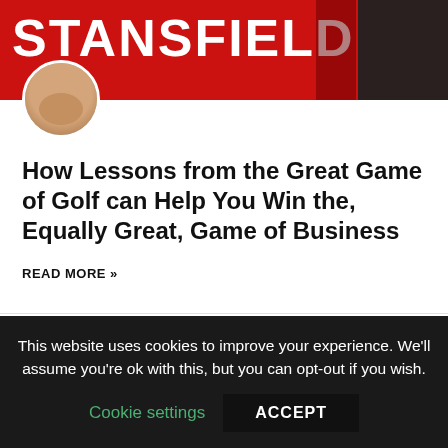[Figure (photo): Red banner with white text reading STANSFIELD and a dark block on the right side. A circular avatar photo of a man is overlaid at the bottom left of the banner.]
How Lessons from the Great Game of Golf can Help You Win the, Equally Great, Game of Business
READ MORE »
David Charlton  ·
This website uses cookies to improve your experience. We'll assume you're ok with this, but you can opt-out if you wish.
Cookie settings   ACCEPT